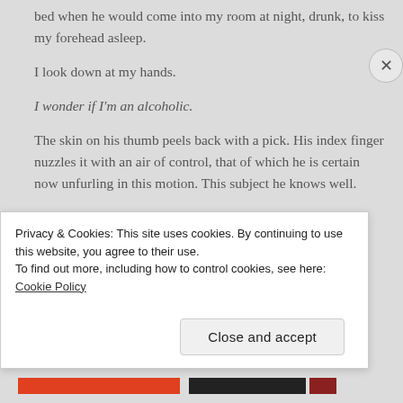bed when he would come into my room at night, drunk, to kiss my forehead asleep.
I look down at my hands.
I wonder if I'm an alcoholic.
The skin on his thumb peels back with a pick. His index finger nuzzles it with an air of control, that of which he is certain now unfurling in this motion. This subject he knows well.
Are you worried? He asks me as he looks up from the
Privacy & Cookies: This site uses cookies. By continuing to use this website, you agree to their use.
To find out more, including how to control cookies, see here: Cookie Policy
Close and accept